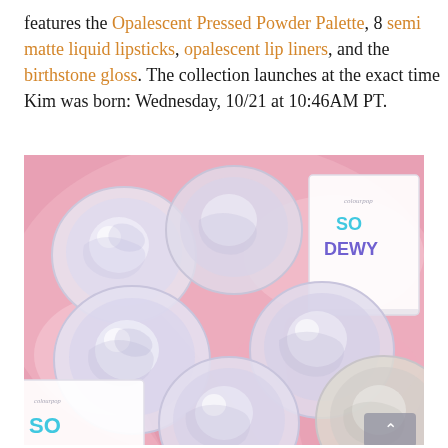features the Opalescent Pressed Powder Palette, 8 semi matte liquid lipsticks, opalescent lip liners, and the birthstone gloss. The collection launches at the exact time Kim was born: Wednesday, 10/21 at 10:46AM PT.
[Figure (photo): Several open glass jars of 'So Dewy' lip gloss product by Colourpop arranged on a pink surface with product packaging boxes visible in background and foreground]